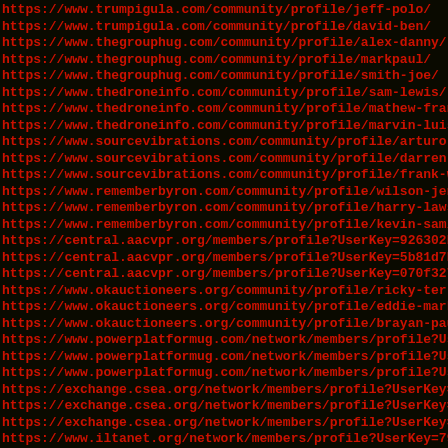https://www.trumpigula.com/community/profile/jeff-polo/
https://www.trumpigula.com/community/profile/david-ben/
https://www.thegrouphug.com/community/profile/alex-danny/
https://www.thegrouphug.com/community/profile/markpaul/
https://www.thegrouphug.com/community/profile/smith-joe/
https://www.thedroneinfo.com/community/profile/sam-lewis/
https://www.thedroneinfo.com/community/profile/mathew-frank
https://www.thedroneinfo.com/community/profile/marvin-luis/
https://www.sourcevibrations.com/community/profile/arturo-t
https://www.sourcevibrations.com/community/profile/darren-c
https://www.sourcevibrations.com/community/profile/frank-we
https://www.rememberbyron.com/community/profile/wilson-jenn
https://www.rememberbyron.com/community/profile/harry-lawso
https://www.rememberbyron.com/community/profile/kevin-sam/
https://central.aacvpr.org/members/profile?UserKey=926302b4
https://central.aacvpr.org/members/profile?UserKey=5b81d7b9
https://central.aacvpr.org/members/profile?UserKey=070f3270
https://www.okauctioneers.org/community/profile/ricky-terry
https://www.okauctioneers.org/community/profile/eddie-mark/
https://www.okauctioneers.org/community/profile/brayan-paul
https://www.powerplatformug.com/network/members/profile?Use
https://www.powerplatformug.com/network/members/profile?Use
https://www.powerplatformug.com/network/members/profile?Use
https://exchange.csea.org/network/members/profile?UserKey=0
https://exchange.csea.org/network/members/profile?UserKey=0
https://exchange.csea.org/network/members/profile?UserKey=3
https://www.iltanet.org/network/members/profile?UserKey=79e
https://www.iltanet.org/network/members/profile?UserKey=47c
https://www.iltanet.org/network/members/profile?UserKey=a2a